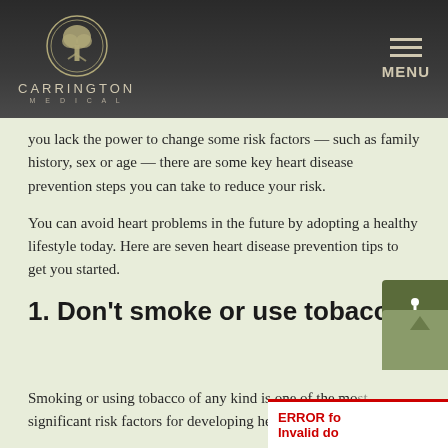CARRINGTON MEDICAL — MENU
you lack the power to change some risk factors — such as family history, sex or age — there are some key heart disease prevention steps you can take to reduce your risk.
You can avoid heart problems in the future by adopting a healthy lifestyle today. Here are seven heart disease prevention tips to get you started.
1. Don't smoke or use tobacco
Smoking or using tobacco of any kind is one of the most significant risk factors for developing heart disease.